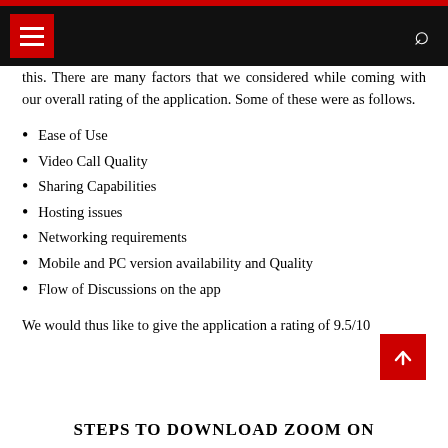Navigation bar with hamburger menu and search icon
this. There are many factors that we considered while coming with our overall rating of the application. Some of these were as follows.
Ease of Use
Video Call Quality
Sharing Capabilities
Hosting issues
Networking requirements
Mobile and PC version availability and Quality
Flow of Discussions on the app
We would thus like to give the application a rating of 9.5/10
STEPS TO DOWNLOAD ZOOM ON